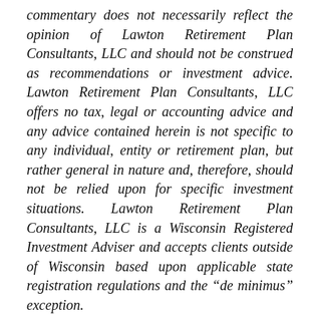commentary does not necessarily reflect the opinion of Lawton Retirement Plan Consultants, LLC and should not be construed as recommendations or investment advice. Lawton Retirement Plan Consultants, LLC offers no tax, legal or accounting advice and any advice contained herein is not specific to any individual, entity or retirement plan, but rather general in nature and, therefore, should not be relied upon for specific investment situations. Lawton Retirement Plan Consultants, LLC is a Wisconsin Registered Investment Adviser and accepts clients outside of Wisconsin based upon applicable state registration regulations and the “de minimus” exception.